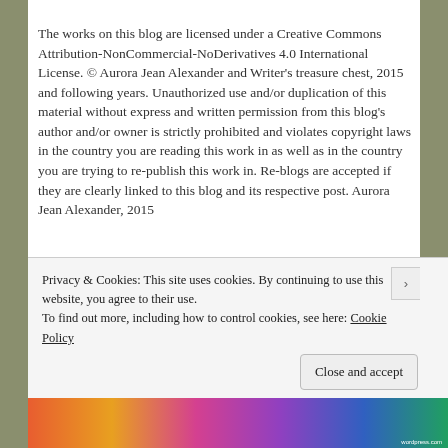[Figure (logo): Black banner logo bar with white text/icons]
The works on this blog are licensed under a Creative Commons Attribution-NonCommercial-NoDerivatives 4.0 International License. © Aurora Jean Alexander and Writer's treasure chest, 2015 and following years. Unauthorized use and/or duplication of this material without express and written permission from this blog's author and/or owner is strictly prohibited and violates copyright laws in the country you are reading this work in as well as in the country you are trying to re-publish this work in. Re-blogs are accepted if they are clearly linked to this blog and its respective post. Aurora Jean Alexander, 2015
Privacy & Cookies: This site uses cookies. By continuing to use this website, you agree to their use.
To find out more, including how to control cookies, see here: Cookie Policy
Close and accept
[Figure (illustration): Colorful gradient strip at the bottom of the page]